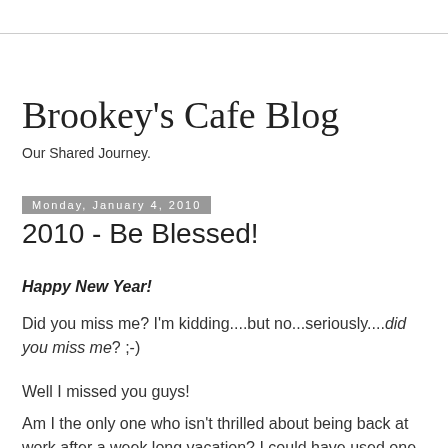Brookey's Cafe Blog
Our Shared Journey.
Monday, January 4, 2010
2010 - Be Blessed!
Happy New Year!
Did you miss me? I'm kidding....but no...seriously....did you miss me? ;-)
Well I missed you guys!
Am I the only one who isn't thrilled about being back at work after a week long vacation? I could have used one more day,